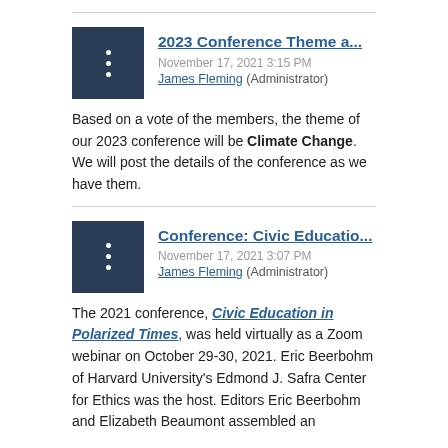2023 Conference Theme a...
November 17, 2021 3:15 PM
James Fleming (Administrator)
Based on a vote of the members, the theme of our 2023 conference will be Climate Change. We will post the details of the conference as we have them.
Conference: Civic Educatio...
November 17, 2021 3:07 PM
James Fleming (Administrator)
The 2021 conference, Civic Education in Polarized Times, was held virtually as a Zoom webinar on October 29-30, 2021. Eric Beerbohm of Harvard University's Edmond J. Safra Center for Ethics was the host. Editors Eric Beerbohm and Elizabeth Beaumont assembled an